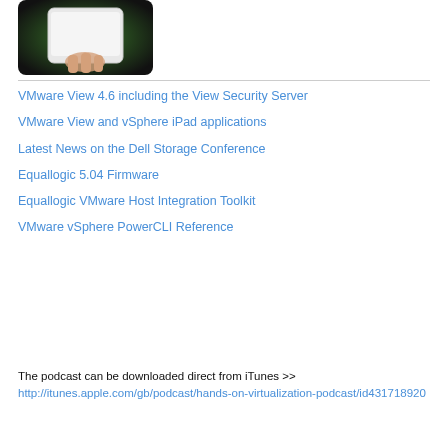[Figure (photo): Hand holding a tablet/iPad device with green background, shown from above]
VMware View 4.6 including the View Security Server
VMware View and vSphere iPad applications
Latest News on the Dell Storage Conference
Equallogic 5.04 Firmware
Equallogic VMware Host Integration Toolkit
VMware vSphere PowerCLI Reference
The podcast can be downloaded direct from iTunes >> http://itunes.apple.com/gb/podcast/hands-on-virtualization-podcast/id431718920